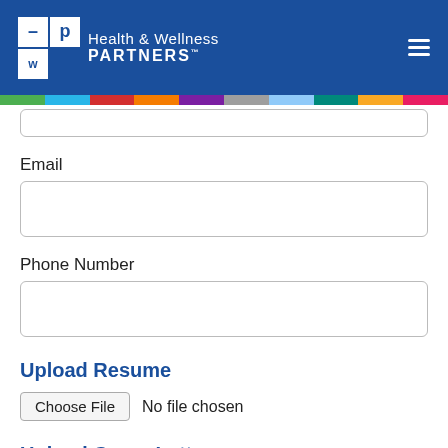Health & Wellness Partners
Email
Phone Number
Upload Resume
Choose File  No file chosen
Upload Cover Letter